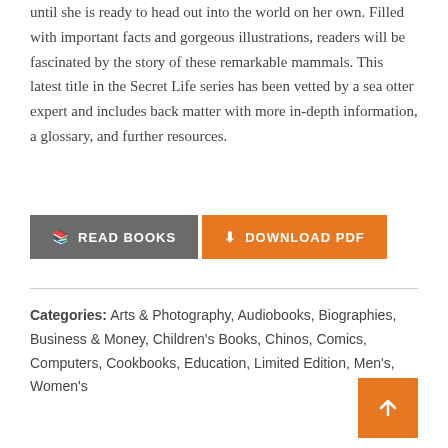until she is ready to head out into the world on her own. Filled with important facts and gorgeous illustrations, readers will be fascinated by the story of these remarkable mammals. This latest title in the Secret Life series has been vetted by a sea otter expert and includes back matter with more in-depth information, a glossary, and further resources.
[Figure (other): Two buttons: READ BOOKS (dark grey) and DOWNLOAD PDF (orange)]
Categories: Arts & Photography, Audiobooks, Biographies, Business & Money, Children's Books, Chinos, Comics, Computers, Cookbooks, Education, Limited Edition, Men's, Women's